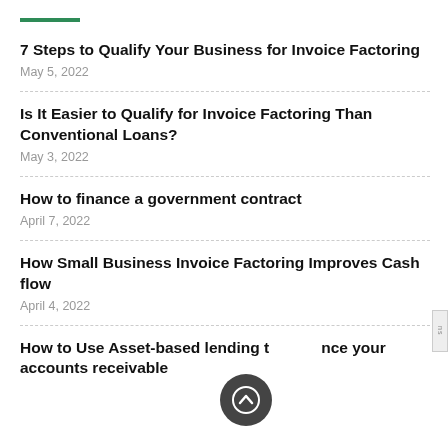7 Steps to Qualify Your Business for Invoice Factoring
May 5, 2022
Is It Easier to Qualify for Invoice Factoring Than Conventional Loans?
May 3, 2022
How to finance a government contract
April 7, 2022
How Small Business Invoice Factoring Improves Cash flow
April 4, 2022
How to Use Asset-based lending to finance your accounts receivable